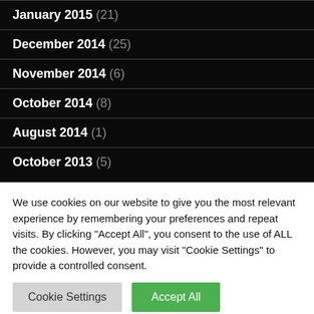January 2015 (21)
December 2014 (25)
November 2014 (6)
October 2014 (8)
August 2014 (1)
October 2013 (5)
September 2013 (4)
We use cookies on our website to give you the most relevant experience by remembering your preferences and repeat visits. By clicking "Accept All", you consent to the use of ALL the cookies. However, you may visit "Cookie Settings" to provide a controlled consent.